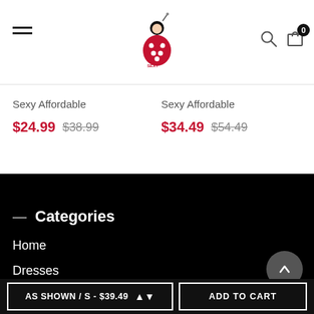Sexy Affordable — navigation header with hamburger menu, logo, search, cart
Sexy Affordable
$24.99  $38.99
Sexy Affordable
$34.49  $54.49
— Categories
Home
Dresses
Swimwear
Fashion
AS SHOWN / S - $39.49
ADD TO CART